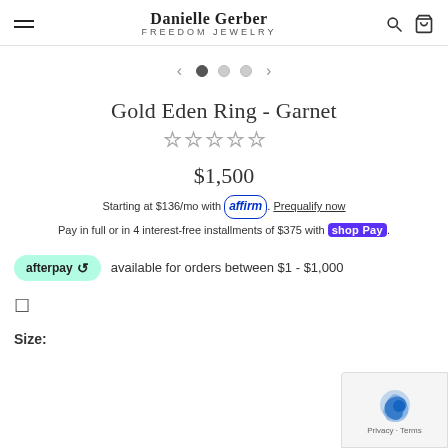Danielle Gerber FREEDOM JEWELRY
[Figure (illustration): Image carousel navigation with left arrow, three dot indicators (first filled, two empty), and right arrow]
Gold Eden Ring - Garnet
[Figure (other): Five empty star rating icons]
$1,500
Starting at $136/mo with affirm. Prequalify now
Pay in full or in 4 interest-free installments of $375 with Shop Pay.
afterpay available for orders between $1 - $1,000
Size: